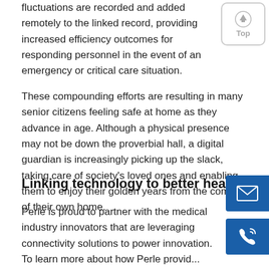fluctuations are recorded and added remotely to the linked record, providing increased efficiency outcomes for responding personnel in the event of an emergency or critical care situation.
These compounding efforts are resulting in many senior citizens feeling safe at home as they advance in age. Although a physical presence may not be down the proverbial hall, a digital guardian is increasingly picking up the slack, taking care of society's loved ones and enabling them to enjoy their golden years from the comfort of their own home.
Linking technology to better health
Perle is proud to partner with the medical industry innovators that are leveraging connectivity solutions to power innovation. To learn more about how Perle provides efficient, reliable connectivity via industrial switches and terminal servers, visit our health care solutions page